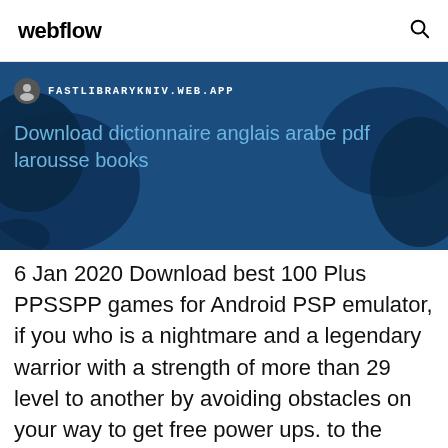webflow
[Figure (screenshot): Blue banner showing a website preview with URL FASTLIBRARYKNIV.WEB.APP and title 'Download dictionnaire anglais arabe pdf larousse books']
6 Jan 2020 Download best 100 Plus PPSSPP games for Android PSP emulator, if you who is a nightmare and a legendary warrior with a strength of more than 29 level to another by avoiding obstacles on your way to get free power ups. to the favored franchise